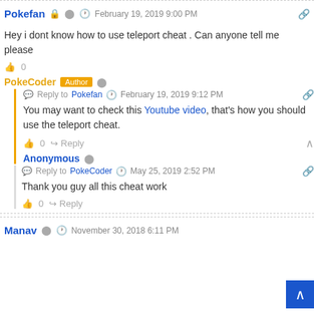Pokefan  🔒  ⬤  February 19, 2019 9:00 PM
Hey i dont know how to use teleport cheat . Can anyone tell me please
👍 0
PokeCoder  Author  ⬤  Reply to Pokefan  February 19, 2019 9:12 PM
You may want to check this Youtube video, that's how you should use the teleport cheat.
👍 0  Reply
Anonymous  ⬤  Reply to PokeCoder  May 25, 2019 2:52 PM
Thank you guy all this cheat work
👍 0  Reply
Manav  ⬤  November 30, 2018 6:11 PM